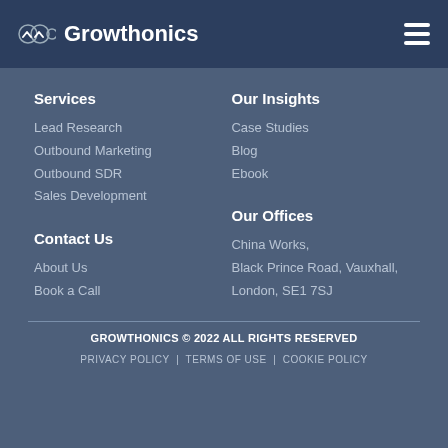Growthonics
Services
Lead Research
Outbound Marketing
Outbound SDR
Sales Development
Our Insights
Case Studies
Blog
Ebook
Contact Us
About Us
Book a Call
Our Offices
China Works, Black Prince Road, Vauxhall, London, SE1 7SJ
GROWTHONICS © 2022 ALL RIGHTS RESERVED
PRIVACY POLICY | TERMS OF USE | COOKIE POLICY